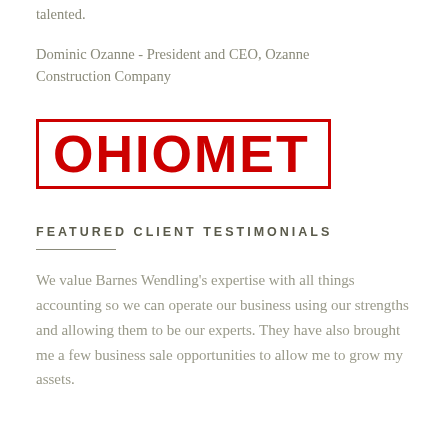talented.
Dominic Ozanne - President and CEO, Ozanne Construction Company
[Figure (logo): OHIOMET logo in red bold text inside a red rectangle border]
FEATURED CLIENT TESTIMONIALS
We value Barnes Wendling's expertise with all things accounting so we can operate our business using our strengths and allowing them to be our experts. They have also brought me a few business sale opportunities to allow me to grow my assets.